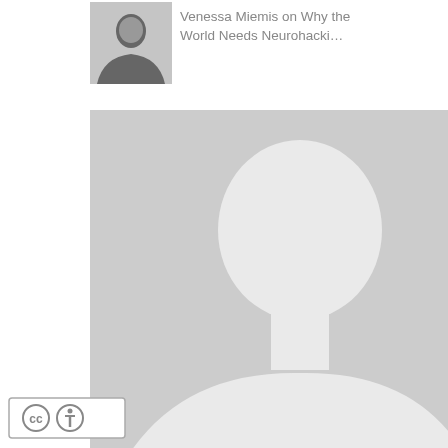[Figure (photo): Small grayscale portrait photo of Venessa Miemis]
Venessa Miemis on Why the World Needs Neurohacki…
[Figure (photo): Large gray silhouette placeholder avatar for Monica Anderson]
Monica Anderson on Why the World Needs Neurohacki…
[Figure (photo): Small grayscale portrait photo of Venessa Miemis]
Venessa Miemis on The Neurohacker's Toolbo…
[Figure (photo): Small color portrait photo of bonnittaroy]
bonnittaroy on The Neurohacker's Toolbo…
What is Neurohacking… on What is Neurohacking?
[Figure (logo): Creative Commons CC BY license badge]